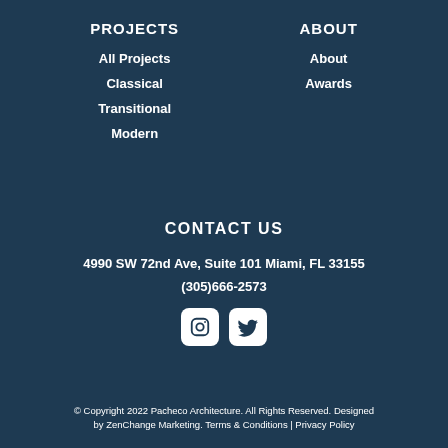PROJECTS
All Projects
Classical
Transitional
Modern
ABOUT
About
Awards
CONTACT US
4990 SW 72nd Ave, Suite 101 Miami, FL 33155
(305)666-2573
[Figure (illustration): Social media icons: Instagram and Twitter]
© Copyright 2022 Pacheco Architecture. All Rights Reserved. Designed by ZenChange Marketing. Terms & Conditions | Privacy Policy